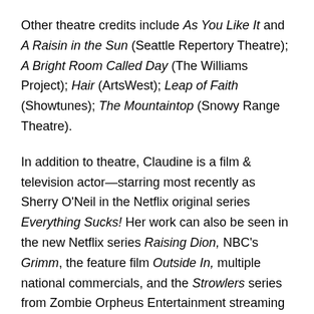Other theatre credits include As You Like It and A Raisin in the Sun (Seattle Repertory Theatre); A Bright Room Called Day (The Williams Project); Hair (ArtsWest); Leap of Faith (Showtunes); The Mountaintop (Snowy Range Theatre).
In addition to theatre, Claudine is a film & television actor—starring most recently as Sherry O'Neil in the Netflix original series Everything Sucks! Her work can also be seen in the new Netflix series Raising Dion, NBC's Grimm, the feature film Outside In, multiple national commercials, and the Strowlers series from Zombie Orpheus Entertainment streaming on Amazon Prime.
Nako is a writer, teaching artist, director, and activist.